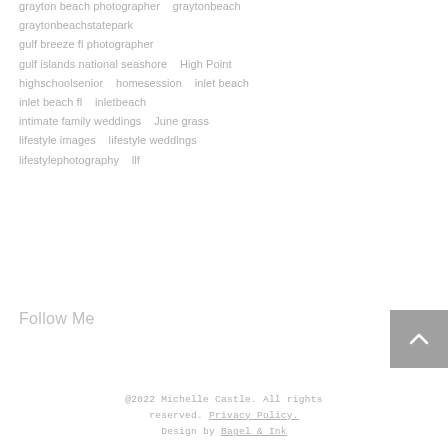grayton beach photographer   graytonbeach
graytonbeachstatepark
gulf breeze fl photographer
gulf islands national seashore   High Point
highschoolsenior   homesession   inlet beach
inlet beach fl   inletbeach
intimate family weddings   June grass
lifestyle images   lifestyle weddings
lifestylephotography   llf
Follow Me
@2022 Michelle Castle. All rights reserved. Privacy Policy. Design by Bagel & Ink